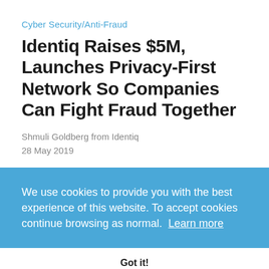Cyber Security/Anti-Fraud
Identiq Raises $5M, Launches Privacy-First Network So Companies Can Fight Fraud Together
Shmuli Goldberg from Identiq
28 May 2019
We use cookies to provide you with the best experience of this website. To accept cookies continue browsing as normal.  Learn more
Got it!
Capital, with participants from leading